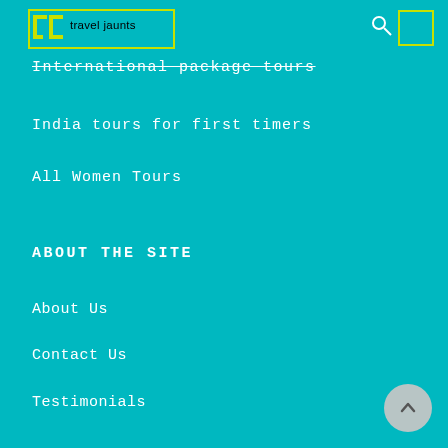travel jaunts
International package tours
India tours for first timers
All Women Tours
ABOUT THE SITE
About Us
Contact Us
Testimonials